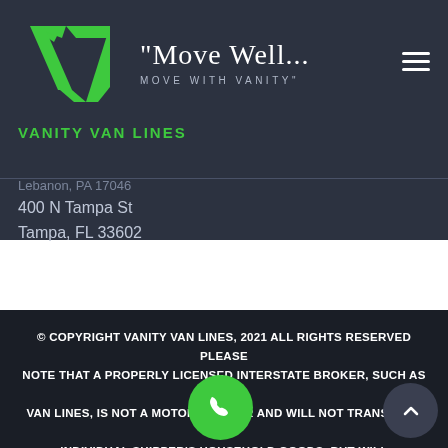[Figure (logo): Vanity Van Lines logo with green V-shaped chevron/arrow graphic and green text 'VANITY VAN LINES' below]
"Move Well...
MOVE WITH VANITY"
Lebanon, PA 17046
400 N Tampa St
Tampa, FL 33602
© COPYRIGHT VANITY VAN LINES, 2021 ALL RIGHTS RESERVED PLEASE NOTE THAT A PROPERLY LICENSED INTERSTATE BROKER, SUCH AS VANITY VAN LINES, IS NOT A MOTOR CARRIER AND WILL NOT TRANSPORT AN INDIVIDUAL SHIPPER'S HOUSEHOLD GOODS, BUT WILL COORDINATE AND ARRANGE FOR THE TRANSPORT OF HOUSEHOLD GOODS BY AN FMCSA AUTHORIZED MOTOR CARRIER, WHOSE CHARGES WILL BE DETERMINED BY IT'S PUBLISHED TARIFF. ALL ESTIMATED CHARGES AND